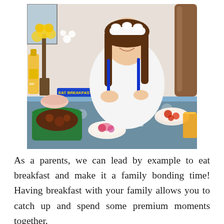[Figure (photo): A smiling woman wearing a white outfit and a white frilly headband sits at a dining table filled with various Filipino breakfast dishes including meat, rice, and bowls of food. There are yellow flowers in a vase, a bottle of cooking oil, and a glass pitcher of water on the table. She holds blue utensils. A sign reading 'EAT BREAKFAST' is visible among the items.]
As a parents, we can lead by example to eat breakfast and make it a family bonding time! Having breakfast with your family allows you to catch up and spend some premium moments together.